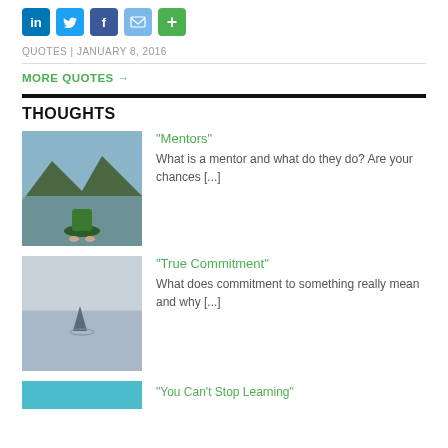[Figure (other): Social sharing icons: LinkedIn, Twitter, Facebook, Email, Plus]
QUOTES | JANUARY 8, 2016
MORE QUOTES →
THOUGHTS
[Figure (photo): Photo of feet on a kayak on a lake with mountains in background]
"Mentors" What is a mentor and what do they do? Are your chances [...]
[Figure (photo): Photo of a shark fin visible above water]
"True Commitment" What does commitment to something really mean and why [...]
[Figure (photo): Partially visible thumbnail at bottom of page]
"You Can't Stop Learning"